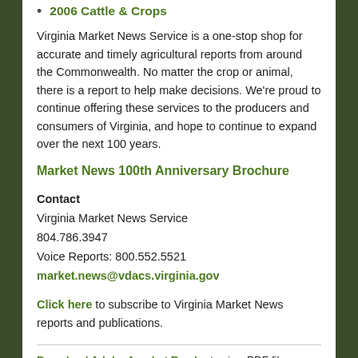2006 Cattle & Crops
Virginia Market News Service is a one-stop shop for accurate and timely agricultural reports from around the Commonwealth. No matter the crop or animal, there is a report to help make decisions. We’re proud to continue offering these services to the producers and consumers of Virginia, and hope to continue to expand over the next 100 years.
Market News 100th Anniversary Brochure
Contact
Virginia Market News Service
804.786.3947
Voice Reports: 800.552.5521
market.news@vdacs.virginia.gov
Click here to subscribe to Virginia Market News reports and publications.
Download Adobe Acrobat Reader to view PDF files.